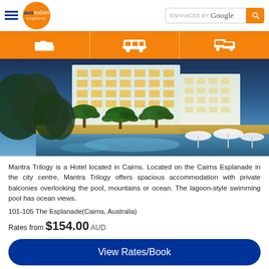[Figure (logo): Australian Explorer logo with hamburger menu and Google search bar]
[Figure (photo): Night photo of Mantra Trilogy hotel in Cairns showing illuminated apartment building with lagoon-style swimming pool, palm trees, and outdoor seating with white umbrellas]
Mantra Trilogy is a Hotel located in Cairns. Located on the Cairns Esplanade in the city centre, Mantra Trilogy offers spacious accommodation with private balconies overlooking the pool, mountains or ocean. The lagoon-style swimming pool has ocean views.
101-105 The Esplanade(Cairns, Australia)
Rates from $154.00 AUD
View Rates/Book